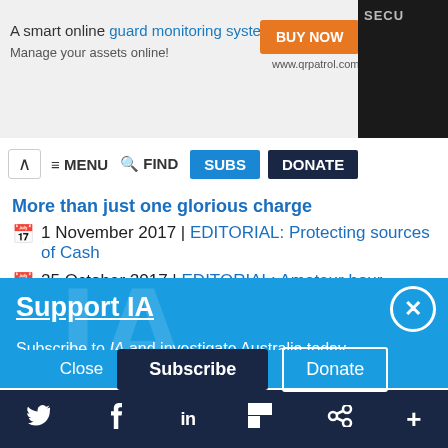[Figure (screenshot): Advertisement banner for QR Patrol guard monitoring system with 'BUY NOW' button and www.qrpatrol.com URL, with a security guard image on the right]
≡ MENU  🔍 FIND  SUBS  DONATE
More than just one glorious charge
1 November 2017 | EDITORIAL: Protecting sources of Cash
25 October 2017 | EDITORIAL: Amateur hour
Support IA
Subscribe to IA and investigate Australia today.
Close  Subscribe  Donate
Twitter  Facebook  LinkedIn  Flipboard  Share  More